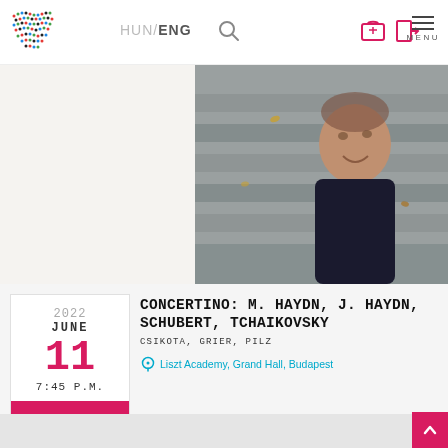HUN / ENG — Liszt Academy website header with logo, language switcher, search, cart, login, menu
[Figure (photo): Portrait photo of a middle-aged bald man smiling, seated on stone steps outdoors, wearing a dark jacket. Background shows stone/concrete steps.]
2022
JUNE
11
7:45 P.M.
CONCERTINO: M. HAYDN, J. HAYDN, SCHUBERT, TCHAIKOVSKY
CSIKOTA, GRIER, PILZ
Liszt Academy, Grand Hall, Budapest
Add to calendar